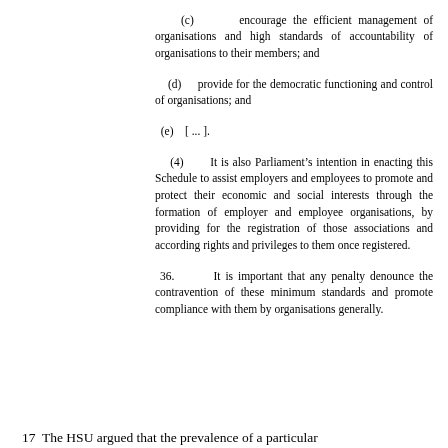(c)	encourdage the efficient management of organisations and high standards of accountability of organisations to their members; and
(d)	provide for the democratic functioning and control of organisations; and
(e)	[ ... ].
(4)	It is also Parliament’s intention in enacting this Schedule to assist employers and employees to promote and protect their economic and social interests through the formation of employer and employee organisations, by providing for the registration of those associations and according rights and privileges to them once registered.
36.	It is important that any penalty denounce the contravention of these minimum standards and promote compliance with them by organisations generally.
17  The HSU argued that the prevalence of a particular